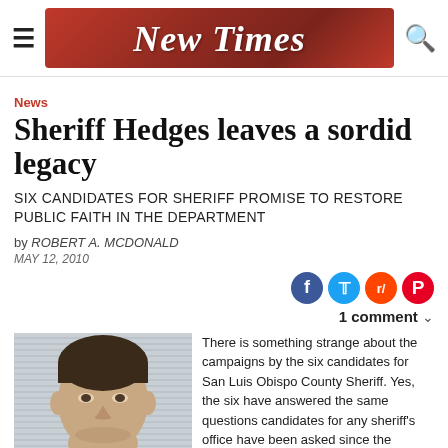New Times
News
Sheriff Hedges leaves a sordid legacy
SIX CANDIDATES FOR SHERIFF PROMISE TO RESTORE PUBLIC FAITH IN THE DEPARTMENT
by ROBERT A. MCDONALD
MAY 12, 2010
[Figure (infographic): Social media sharing icons: Facebook, Twitter, Reddit, Pinterest]
1 comment
[Figure (photo): Close-up photo of a man's face, dark hair, neutral expression]
There is something strange about the campaigns by the six candidates for San Luis Obispo County Sheriff. Yes, the six have answered the same questions candidates for any sheriff's office have been asked since the